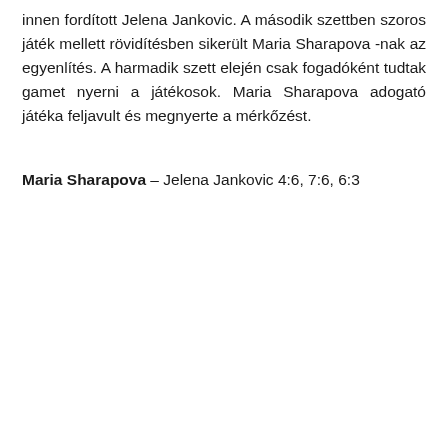innen fordított Jelena Jankovic. A második szettben szoros játék mellett rövidítésben sikerült Maria Sharapova -nak az egyenlítés. A harmadik szett elején csak fogadóként tudtak gamet nyerni a játékosok. Maria Sharapova adogató játéka feljavult és megnyerte a mérkőzést.
Maria Sharapova – Jelena Jankovic 4:6, 7:6, 6:3